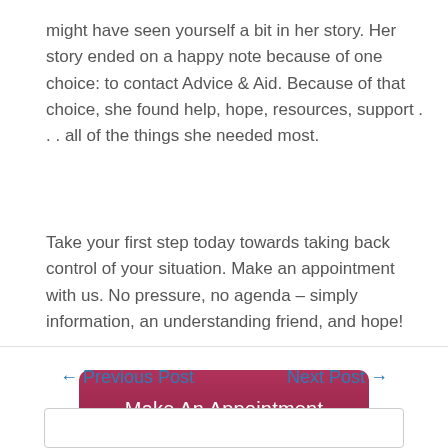might have seen yourself a bit in her story. Her story ended on a happy note because of one choice: to contact Advice & Aid. Because of that choice, she found help, hope, resources, support . . . all of the things she needed most.
Take your first step today towards taking back control of your situation. Make an appointment with us. No pressure, no agenda – simply information, an understanding friend, and hope!
[Figure (other): A dark pink/mauve rounded button with white text reading 'Make An Appointment']
← Previous Post    Next Post →